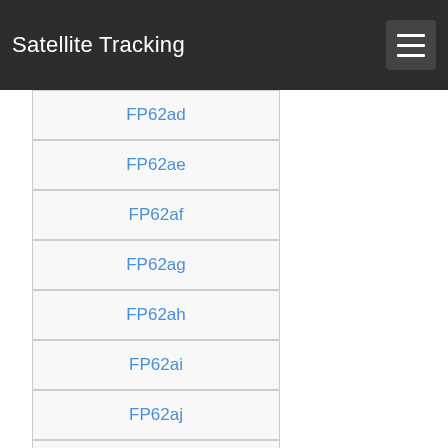Satellite Tracking
FP62ad
FP62ae
FP62af
FP62ag
FP62ah
FP62ai
FP62aj
FP62ak
FP62al
FP62am
FP62an
FP62ao
FP62ap
FP62aq
FP62ar
FP62as
FP62at
FP62au